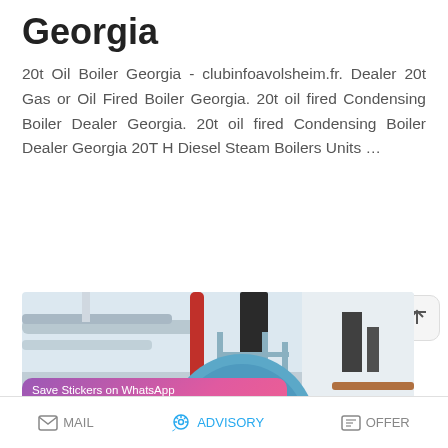Georgia
20t Oil Boiler Georgia - clubinfoavolsheim.fr. Dealer 20t Gas or Oil Fired Boiler Georgia. 20t oil fired Condensing Boiler Dealer Georgia. 20t oil fired Condensing Boiler Dealer Georgia 20T H Diesel Steam Boilers Units …
READ MORE
[Figure (photo): Industrial boiler room showing large cylindrical blue boiler, red and silver pipes, chimney stack, scaffolding, in a white-walled room]
Save Stickers on WhatsApp
MAIL  ADVISORY  OFFER